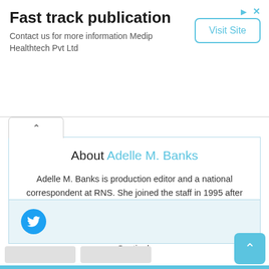[Figure (screenshot): Advertisement banner for Fast track publication by Medip Healthtech Pvt Ltd with a Visit Site button]
Fast track publication
Contact us for more information Medip Healthtech Pvt Ltd
About Adelle M. Banks
Adelle M. Banks is production editor and a national correspondent at RNS. She joined the staff in 1995 after working for more than 10 years at daily newspapers in the upstate New York communities of Binghamton and Syracuse, The Providence Journal and the Orlando Sentinel.
[Figure (logo): Twitter bird icon in a blue circle]